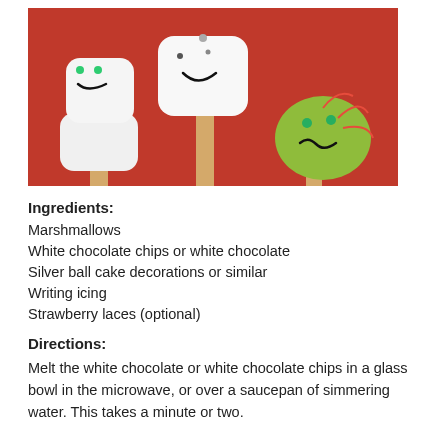[Figure (photo): Three marshmallow pops on sticks against a red background. Two white marshmallows with drawn faces using writing icing and silver/green ball decorations, and one green chocolate-covered marshmallow with a monster face and strawberry lace decorations.]
Ingredients:
Marshmallows
White chocolate chips or white chocolate
Silver ball cake decorations or similar
Writing icing
Strawberry laces (optional)
Directions:
Melt the white chocolate or white chocolate chips in a glass bowl in the microwave, or over a saucepan of simmering water. This takes a minute or two.